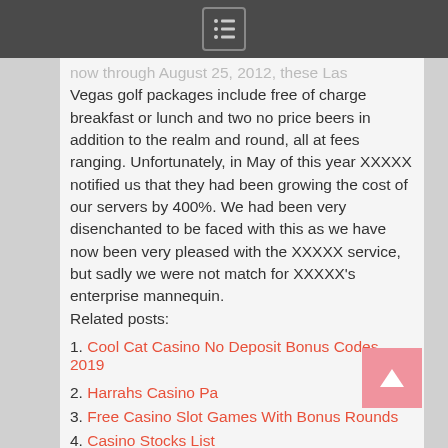[menu icon]
now through August 25, 2012, these Las Vegas golf packages include free of charge breakfast or lunch and two no price beers in addition to the realm and round, all at fees ranging. Unfortunately, in May of this year XXXXX notified us that they had been growing the cost of our servers by 400%. We had been very disenchanted to be faced with this as we have now been very pleased with the XXXXX service, but sadly we were not match for XXXXX's enterprise mannequin.
Related posts:
Cool Cat Casino No Deposit Bonus Codes 2019
Harrahs Casino Pa
Free Casino Slot Games With Bonus Rounds
Casino Stocks List